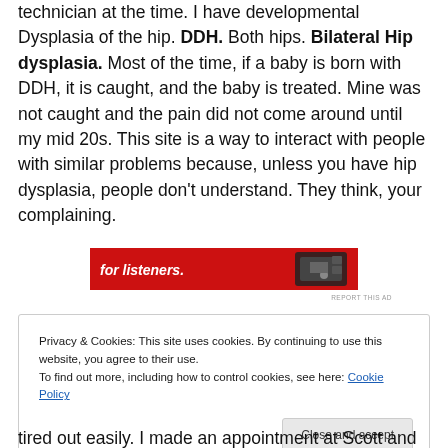technician at the time. I have developmental Dysplasia of the hip. DDH. Both hips. Bilateral Hip dysplasia. Most of the time, if a baby is born with DDH, it is caught, and the baby is treated. Mine was not caught and the pain did not come around until my mid 20s. This site is a way to interact with people with similar problems because, unless you have hip dysplasia, people don't understand. They think, your complaining.
[Figure (screenshot): Red advertisement banner with white text 'for listeners.' and a device image on the right]
REPORT THIS AD
Privacy & Cookies: This site uses cookies. By continuing to use this website, you agree to their use. To find out more, including how to control cookies, see here: Cookie Policy
Close and accept
tired out easily. I made an appointment at Scott and White